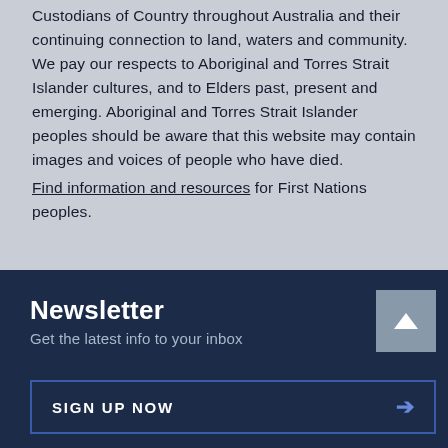Custodians of Country throughout Australia and their continuing connection to land, waters and community. We pay our respects to Aboriginal and Torres Strait Islander cultures, and to Elders past, present and emerging. Aboriginal and Torres Strait Islander peoples should be aware that this website may contain images and voices of people who have died.

Find information and resources for First Nations peoples.
Newsletter
Get the latest info to your inbox
SIGN UP NOW